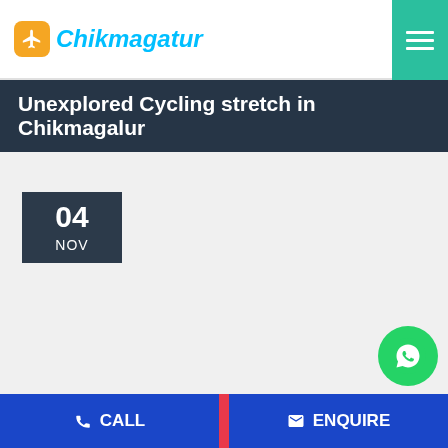Chikmagalur
Unexplored Cycling stretch in Chikmagalur
04 NOV
[Figure (logo): WhatsApp contact button (green circle with phone handset icon)]
CALL   ENQUIRE